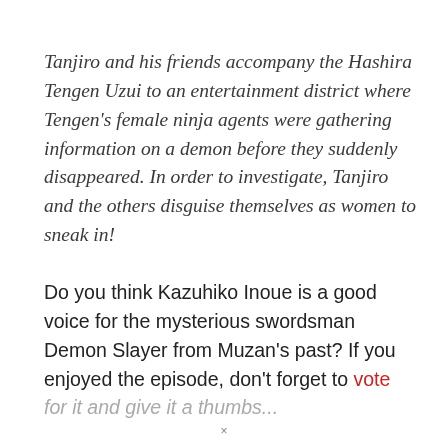Tanjiro and his friends accompany the Hashira Tengen Uzui to an entertainment district where Tengen's female ninja agents were gathering information on a demon before they suddenly disappeared. In order to investigate, Tanjiro and the others disguise themselves as women to sneak in!
Do you think Kazuhiko Inoue is a good voice for the mysterious swordsman Demon Slayer from Muzan's past? If you enjoyed the episode, don't forget to vote for it and give it a thumbs...